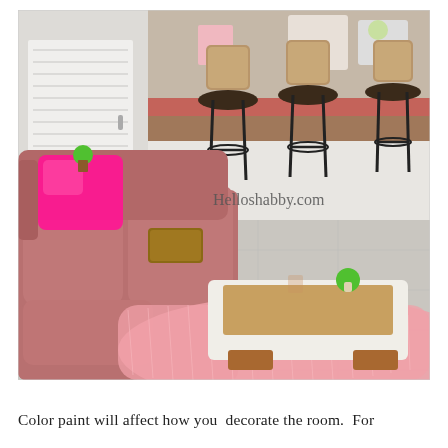[Figure (photo): Interior photo of a living room with a pink/mauve sofa with a hot pink throw pillow, a modern white and wood coffee table on a pink fluffy rug, and three bar stools at a kitchen counter in the background. Watermark reads 'Helloshabby.com'.]
Color paint will affect how you decorate the room. For